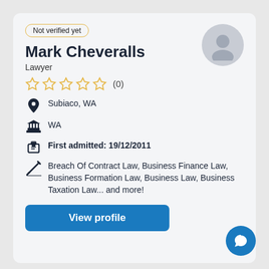Not verified yet
Mark Cheveralls
Lawyer
☆☆☆☆☆ (0)
Subiaco, WA
WA
First admitted: 19/12/2011
Breach Of Contract Law, Business Finance Law, Business Formation Law, Business Law, Business Taxation Law... and more!
View profile